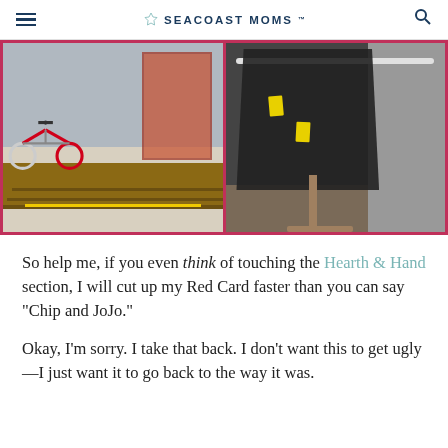SEACOAST MOMS
[Figure (photo): Two store photos side by side with pink border: left shows a wooden pallet on a retail store floor with bicycles in background; right shows a clothing rack with dark garments and yellow price tags.]
So help me, if you even think of touching the Hearth & Hand section, I will cut up my Red Card faster than you can say “Chip and JoJo.”
Okay, I’m sorry. I take that back. I don’t want this to get ugly—I just want it to go back to the way it was.